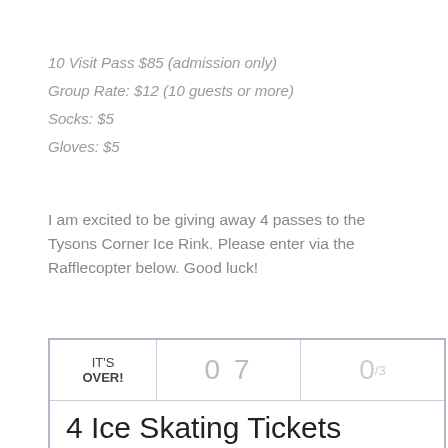10 Visit Pass $85 (admission only)
Group Rate: $12 (10 guests or more)
Socks: $5
Gloves: $5
I am excited to be giving away 4 passes to the Tysons Corner Ice Rink. Please enter via the Rafflecopter below. Good luck!
[Figure (other): Rafflecopter giveaway widget showing IT'S OVER! with entry count 07 and fraction 0/3, and title '4 Ice Skating Tickets at Tysons Corner']